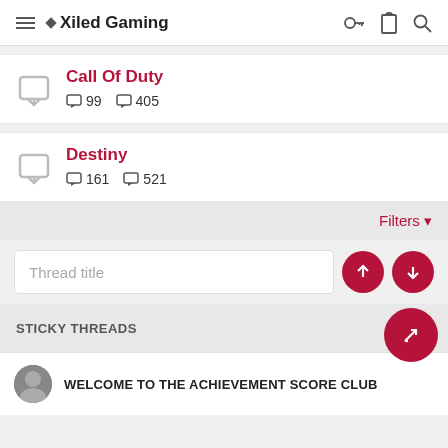Xiled Gaming
Call Of Duty — 99 threads, 405 posts
Destiny — 161 threads, 521 posts
Filters
Thread title
STICKY THREADS
WELCOME TO THE ACHIEVEMENT SCORE CLUB